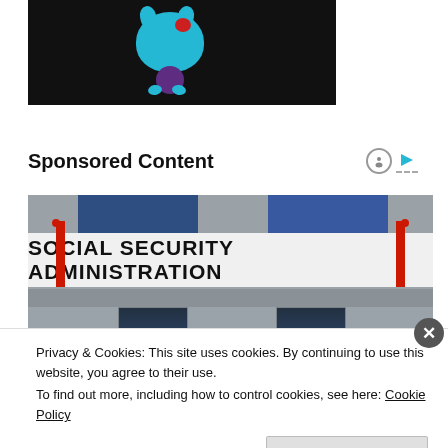[Figure (photo): Crocheted or knitted toy figure (teal/blue animal with red nose) on dark background]
Sponsored Content
[Figure (photo): Photo of Social Security Administration building exterior showing large sign reading 'SOCIAL SECURITY ADMINISTRATION', with red pillars, blue panels above, and glass doors below]
Privacy & Cookies: This site uses cookies. By continuing to use this website, you agree to their use.
To find out more, including how to control cookies, see here: Cookie Policy
Close and accept